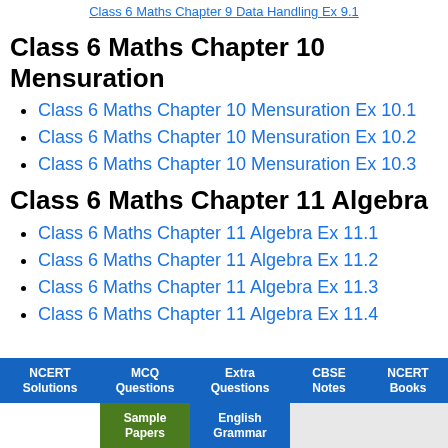Class 6 Maths Chapter 9 Data Handling Ex 9.1
Class 6 Maths Chapter 10 Mensuration
Class 6 Maths Chapter 10 Mensuration Ex 10.1
Class 6 Maths Chapter 10 Mensuration Ex 10.2
Class 6 Maths Chapter 10 Mensuration Ex 10.3
Class 6 Maths Chapter 11 Algebra
Class 6 Maths Chapter 11 Algebra Ex 11.1
Class 6 Maths Chapter 11 Algebra Ex 11.2
Class 6 Maths Chapter 11 Algebra Ex 11.3
Class 6 Maths Chapter 11 Algebra Ex 11.4
NCERT Solutions | MCQ Questions | Extra Questions | CBSE Notes | NCERT Books | Sample Papers | English Grammar